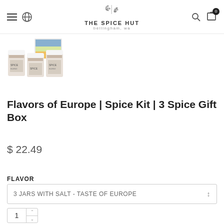THE SPICE HUT bellingham, wa
[Figure (photo): Three spice jars with white lids and labels, arranged in a row with a colorful box behind them]
Flavors of Europe | Spice Kit | 3 Spice Gift Box
$ 22.49
FLAVOR
3 JARS WITH SALT - TASTE OF EUROPE
1